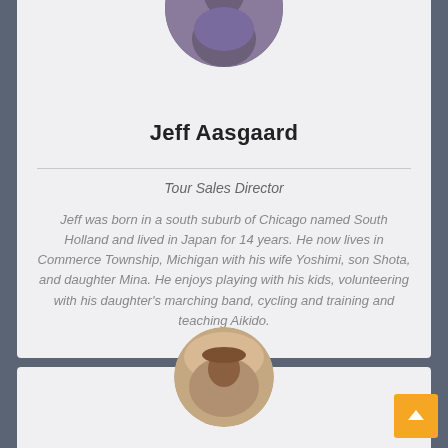[Figure (photo): Circular profile photo of Jeff Aasgaard, a man in a purple t-shirt outdoors]
Jeff Aasgaard
Tour Sales Director
Jeff was born in a south suburb of Chicago named South Holland and lived in Japan for 14 years. He now lives in Commerce Township, Michigan with his wife Yoshimi, son Shota, and daughter Mina. He enjoys playing with his kids, volunteering with his daughter's marching band, cycling and training and teaching Aikido.
[Figure (photo): Circular profile photo of another person, partially visible at the bottom of the page]